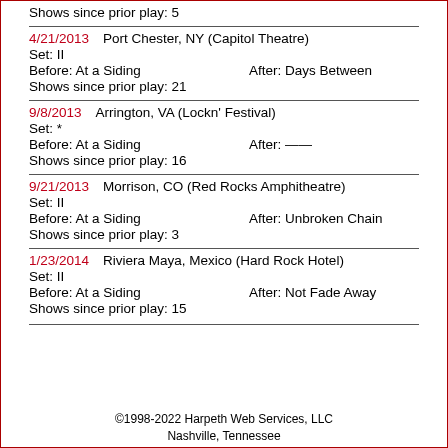Shows since prior play: 5
4/21/2013  Port Chester, NY (Capitol Theatre)
Set: II
Before: At a Siding  After: Days Between
Shows since prior play: 21
9/8/2013  Arrington, VA (Lockn' Festival)
Set: *
Before: At a Siding  After: —-
Shows since prior play: 16
9/21/2013  Morrison, CO (Red Rocks Amphitheatre)
Set: II
Before: At a Siding  After: Unbroken Chain
Shows since prior play: 3
1/23/2014  Riviera Maya, Mexico (Hard Rock Hotel)
Set: II
Before: At a Siding  After: Not Fade Away
Shows since prior play: 15
©1998-2022 Harpeth Web Services, LLC
Nashville, Tennessee